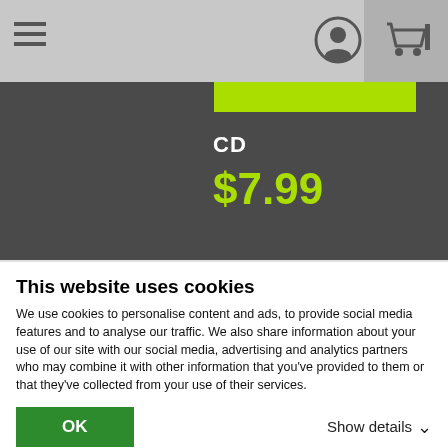[Figure (screenshot): Navigation bar with hamburger menu icon on left, profile icon and shopping cart icon on right, grey background]
CD
$7.99
[Figure (other): Left and right navigation arrows (< >) on a light grey background]
This website uses cookies
We use cookies to personalise content and ads, to provide social media features and to analyse our traffic. We also share information about your use of our site with our social media, advertising and analytics partners who may combine it with other information that you've provided to them or that they've collected from your use of their services.
OK
Show details